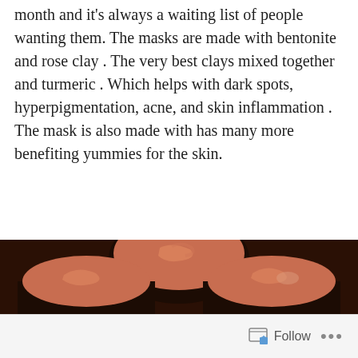month and it's always a waiting list of people wanting them. The masks are made with bentonite and rose clay . The very best clays mixed together and turmeric . Which helps with dark spots, hyperpigmentation, acne, and skin inflammation . The mask is also made with has many more benefiting yummies for the skin.
[Figure (photo): Three open black jars filled with a salmon/terracotta-colored clay face mask, arranged in a triangular pattern on a dark surface.]
Follow ...